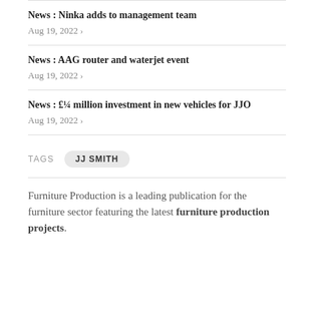News : Ninka adds to management team
Aug 19, 2022 >
News : AAG router and waterjet event
Aug 19, 2022 >
News : £¼ million investment in new vehicles for JJO
Aug 19, 2022 >
TAGS   JJ SMITH
Furniture Production is a leading publication for the furniture sector featuring the latest furniture production projects.